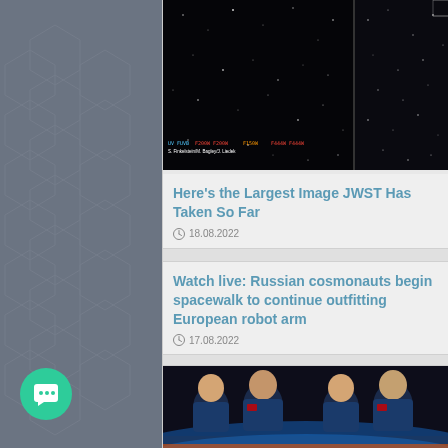[Figure (photo): JWST space telescope image showing stars against black background, split into two panels]
Here’s the Largest Image JWST Has Taken So Far
18.08.2022
Watch live: Russian cosmonauts begin spacewalk to continue outfitting European robot arm
17.08.2022
[Figure (photo): Four astronauts in blue suits posing against a background with Earth and blue light]